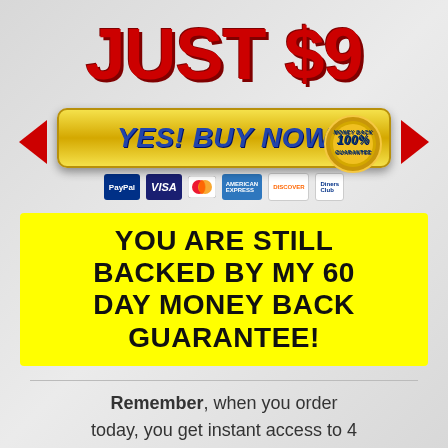JUST $9
[Figure (infographic): Gold 'YES! BUY NOW' button with red arrows on left and right, money-back guarantee badge, and payment icons (PayPal, Visa, MasterCard, American Express, Discover, Diners Club)]
YOU ARE STILL BACKED BY MY 60 DAY MONEY BACK GUARANTEE!
Remember, when you order today, you get instant access to 4